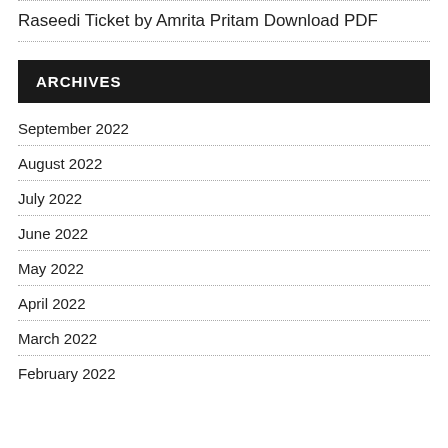Raseedi Ticket by Amrita Pritam Download PDF
ARCHIVES
September 2022
August 2022
July 2022
June 2022
May 2022
April 2022
March 2022
February 2022